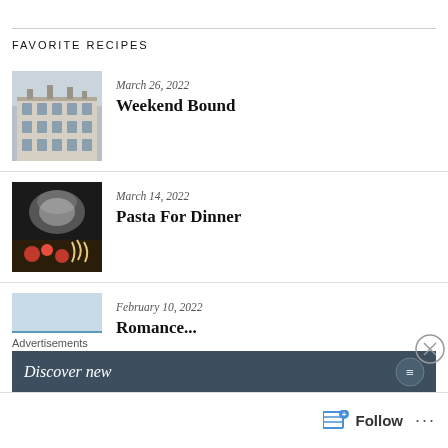FAVORITE RECIPES
March 26, 2022 — Weekend Bound
March 14, 2022 — Pasta For Dinner
February 10, 2022 — Romance...
February 2, 2022
Advertisements
Discover new
Follow ...